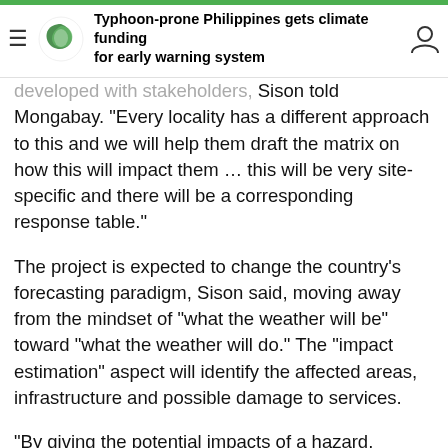Typhoon-prone Philippines gets climate funding for early warning system
developed with stakeholders,” Sison told Mongabay. “Every locality has a different approach to this and we will help them draft the matrix on how this will impact them … this will be very site-specific and there will be a corresponding response table.”
The project is expected to change the country’s forecasting paradigm, Sison said, moving away from the mindset of “what the weather will be” toward “what the weather will do.” The “impact estimation” aspect will identify the affected areas, infrastructure and possible damage to services.
“By giving the potential impacts of a hazard, disaster management agencies, local governments, and the general public will have a better understanding of the risks and will more likely conduct early actions and early